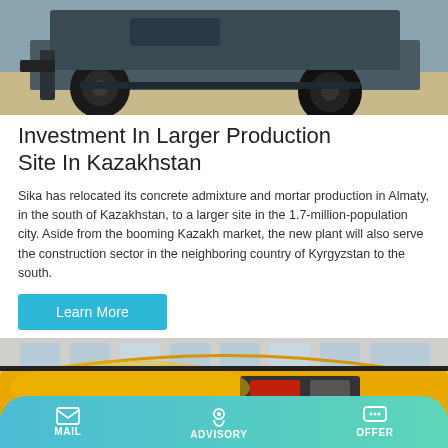[Figure (photo): Underside/rear of a heavy vehicle or machinery with large tires, on a sandy/dirt surface.]
Investment In Larger Production Site In Kazakhstan
Sika has relocated its concrete admixture and mortar production in Almaty, in the south of Kazakhstan, to a larger site in the 1.7-million-population city. Aside from the booming Kazakh market, the new plant will also serve the construction sector in the neighboring country of Kyrgyzstan to the south.
Learn More
[Figure (photo): Yellow industrial machinery (concrete mixer or similar) inside a factory/warehouse building.]
MAIL   ADVISORY   OFFER